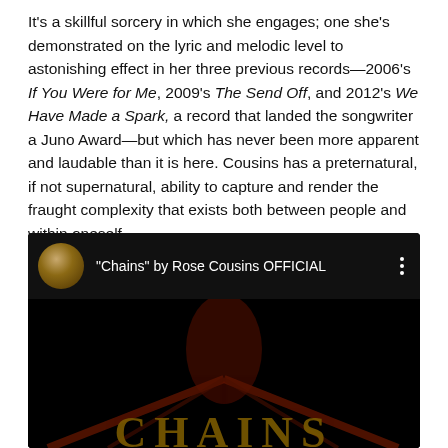It's a skillful sorcery in which she engages; one she's demonstrated on the lyric and melodic level to astonishing effect in her three previous records—2006's If You Were for Me, 2009's The Send Off, and 2012's We Have Made a Spark, a record that landed the songwriter a Juno Award—but which has never been more apparent and laudable than it is here. Cousins has a preternatural, if not supernatural, ability to capture and render the fraught complexity that exists both between people and within oneself.
[Figure (screenshot): YouTube video embed showing 'Chains' by Rose Cousins OFFICIAL. Dark video thumbnail with a silhouette figure and the word CHAINS visible at the bottom in large golden letters.]